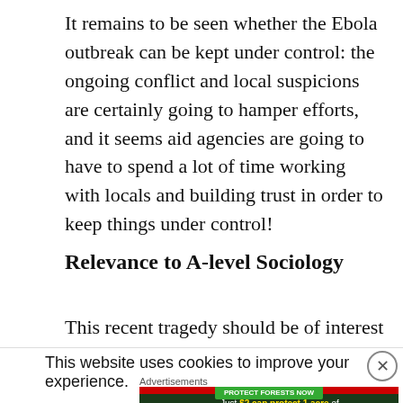It remains to be seen whether the Ebola outbreak can be kept under control: the ongoing conflict and local suspicions are certainly going to hamper efforts, and it seems aid agencies are going to have to spend a lot of time working with locals and building trust in order to keep things under control!
Relevance to A-level Sociology
This recent tragedy should be of interest to any
This website uses cookies to improve your experience.
Advertisements
[Figure (infographic): Advertisement banner with dark green forest background, red strip at top, text reading 'Just $2 can protect 1 acre of irreplaceable forest homes in the Amazon. How many acres are you willing to protect?' with a green 'PROTECT FORESTS NOW' button.]